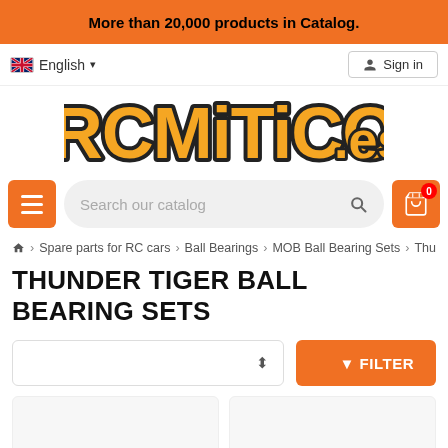More than 20,000 products in Catalog.
English  Sign in
[Figure (logo): RCMiTiCO.es logo in orange and black bold stylized text]
Search our catalog
Home > Spare parts for RC cars > Ball Bearings > MOB Ball Bearing Sets > Thu
THUNDER TIGER BALL BEARING SETS
Sort / Filter controls
FILTER